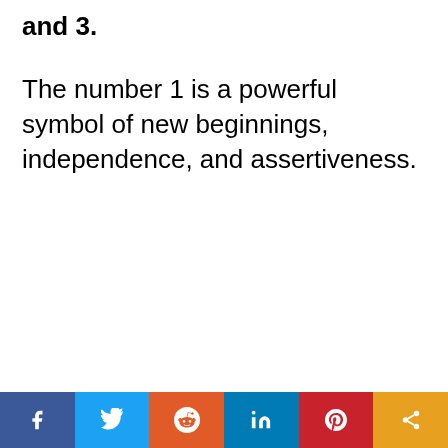and 3.
The number 1 is a powerful symbol of new beginnings, independence, and assertiveness.
Social share bar: Facebook, Twitter, Reddit, LinkedIn, Pinterest, Share